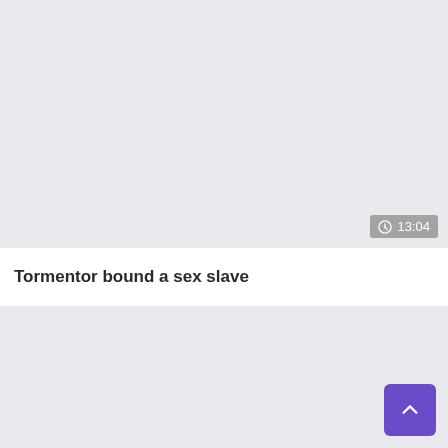[Figure (screenshot): Video thumbnail placeholder with light gray background and duration badge showing 13:04]
Tormentor bound a sex slave
[Figure (screenshot): Bottom gray panel area with a purple scroll-to-top button in the lower right corner]